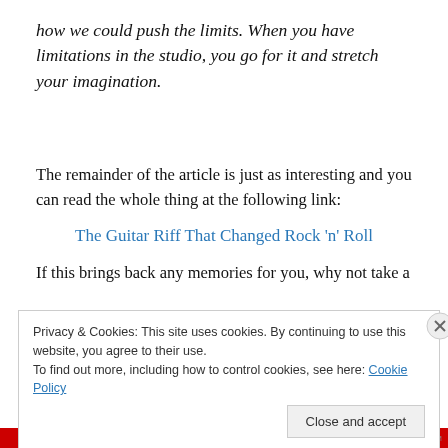how we could push the limits. When you have limitations in the studio, you go for it and stretch your imagination.
The remainder of the article is just as interesting and you can read the whole thing at the following link:
The Guitar Riff That Changed Rock 'n' Roll
If this brings back any memories for you, why not take a
Privacy & Cookies: This site uses cookies. By continuing to use this website, you agree to their use.
To find out more, including how to control cookies, see here: Cookie Policy
Close and accept